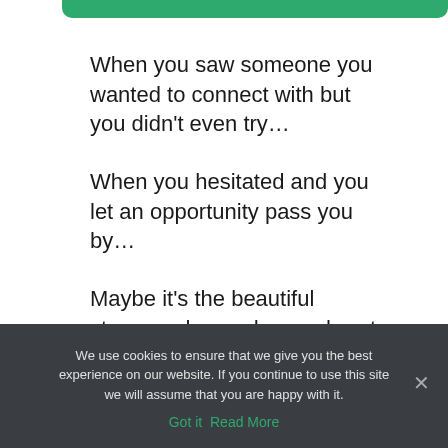[Figure (other): Green rounded bar at the top of the page]
When you saw someone you wanted to connect with but you didn't even try…
When you hesitated and you let an opportunity pass you by…
Maybe it's the beautiful stunner who made your heart beat harder when you saw them walk by.
We use cookies to ensure that we give you the best experience on our website. If you continue to use this site we will assume that you are happy with it.
Got it   Read More